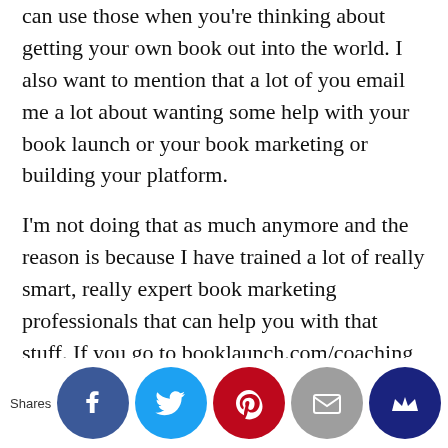can use those when you're thinking about getting your own book out into the world. I also want to mention that a lot of you email me a lot about wanting some help with your book launch or your book marketing or building your platform.
I'm not doing that as much anymore and the reason is because I have trained a lot of really smart, really expert book marketing professionals that can help you with that stuff. If you go to booklaunch.com/coaching, there is a list of really smart, really savvy, certified book launch coaches. These are people that went through a ton of training, ame ashv ent of ti h